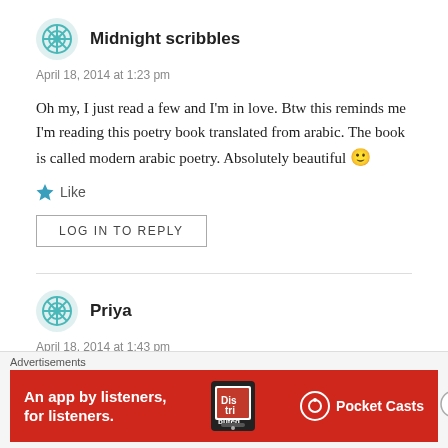Midnight scribbles
April 18, 2014 at 1:23 pm
Oh my, I just read a few and I'm in love. Btw this reminds me I'm reading this poetry book translated from arabic. The book is called modern arabic poetry. Absolutely beautiful 🙂
Like
LOG IN TO REPLY
Priya
April 18, 2014 at 1:43 pm
Viktoria – So do I, especially since you're bound to find people
Advertisements
[Figure (other): Pocket Casts advertisement banner: An app by listeners, for listeners.]